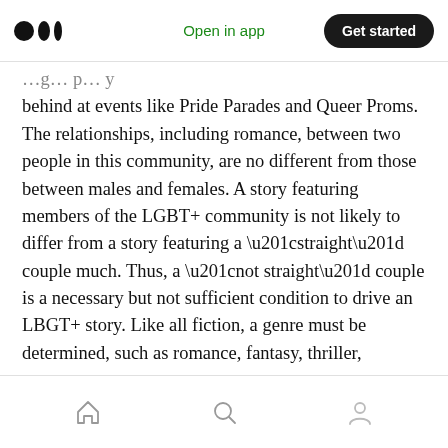Medium logo | Open in app | Get started
behind at events like Pride Parades and Queer Proms. The relationships, including romance, between two people in this community, are no different from those between males and females. A story featuring members of the LGBT+ community is not likely to differ from a story featuring a “straight” couple much. Thus, a “not straight” couple is a necessary but not sufficient condition to drive an LBGT+ story. Like all fiction, a genre must be determined, such as romance, fantasy, thriller, suspense, etc.
Home | Search | Profile